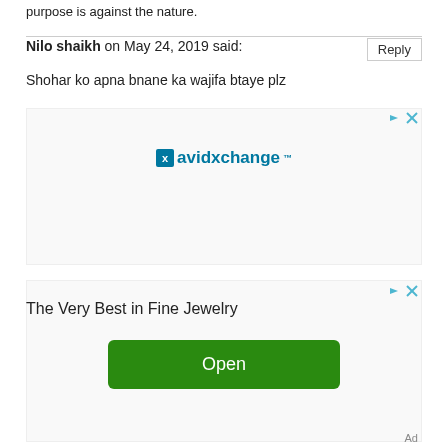purpose is against the nature.
Nilo shaikh on May 24, 2019 said:
Shohar ko apna bnane ka wajifa btaye plz
[Figure (other): AvidXchange advertisement banner with logo]
[Figure (other): Fine Jewelry advertisement with Open button]
Ad